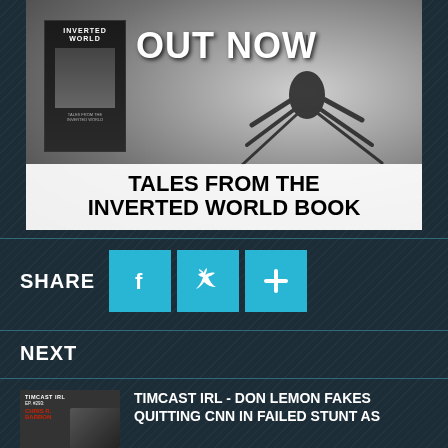[Figure (illustration): Book advertisement banner for 'Tales from the Inverted World Book' showing a dark silhouetted figure/spider on a grey textured background with a book cover on the left, 'OUT NOW' text in white, and the book title in black bold text at the bottom on white background.]
SHARE
[Figure (infographic): Three social share buttons: Facebook (f), Twitter (bird icon), and a plus (+) button, all in teal/cyan color.]
NEXT
[Figure (photo): Thumbnail image for Timcast IRL Episode #293 featuring Chris R. Barron]
TIMCAST IRL - DON LEMON FAKES QUITTING CNN IN FAILED STUNT AS